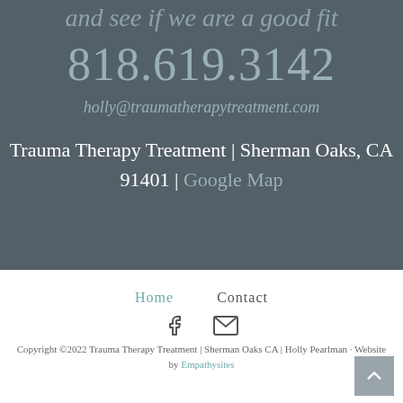and see if we are a good fit
818.619.3142
holly@traumatherapytreatment.com
Trauma Therapy Treatment | Sherman Oaks, CA 91401 | Google Map
Home    Contact
[Figure (other): Facebook icon and email envelope icon]
Copyright ©2022 Trauma Therapy Treatment | Sherman Oaks CA | Holly Pearlman · Website by Empathysites